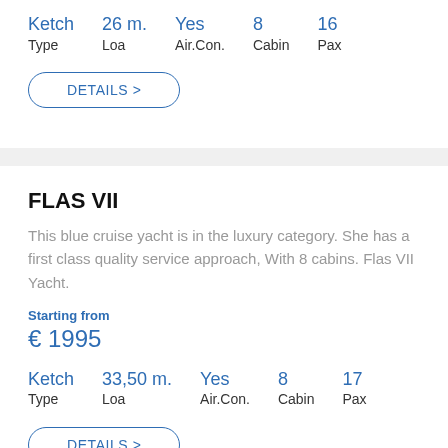| Type | Loa | Air.Con. | Cabin | Pax |
| --- | --- | --- | --- | --- |
| Ketch | 26 m. | Yes | 8 | 16 |
DETAILS >
FLAS VII
This blue cruise yacht is in the luxury category. She has a first class quality service approach, With 8 cabins. Flas VII Yacht.
Starting from
€ 1995
| Type | Loa | Air.Con. | Cabin | Pax |
| --- | --- | --- | --- | --- |
| Ketch | 33,50 m. | Yes | 8 | 17 |
DETAILS >